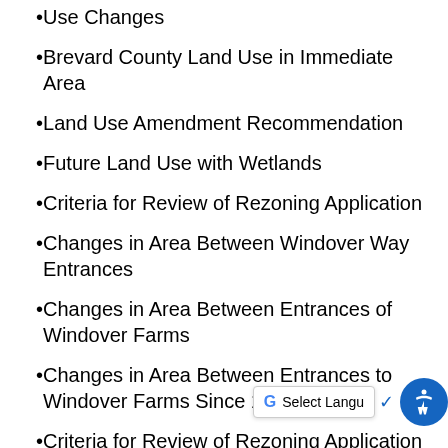Use Changes
Brevard County Land Use in Immediate Area
Land Use Amendment Recommendation
Future Land Use with Wetlands
Criteria for Review of Rezoning Application
Changes in Area Between Windover Way Entrances
Changes in Area Between Entrances of Windover Farms
Changes in Area Between Entrances to Windover Farms Since 1999
Criteria for Review of Rezoning Application